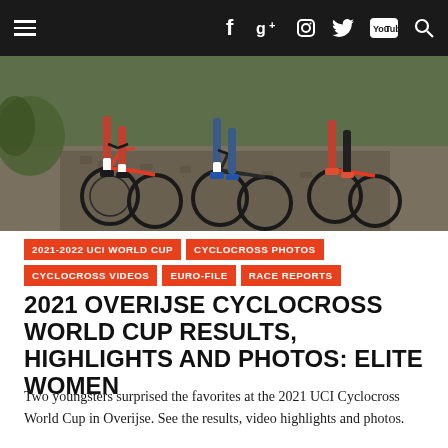≡  f  g+  ◉  🐦  YouTube  🔍
[Figure (photo): Cyclocross race photo showing riders' legs and bicycles on a cobblestone/gravel course, taken from behind the peloton]
2021-2022 UCI WORLD CUP
CYCLOCROSS PHOTOS
CYCLOCROSS VIDEOS
EURO-FILE
RACE REPORTS
2021 OVERIJSE CYCLOCROSS WORLD CUP RESULTS, HIGHLIGHTS AND PHOTOS: ELITE WOMEN
Two youngsters surprised the favorites at the 2021 UCI Cyclocross World Cup in Overijse. See the results, video highlights and photos.